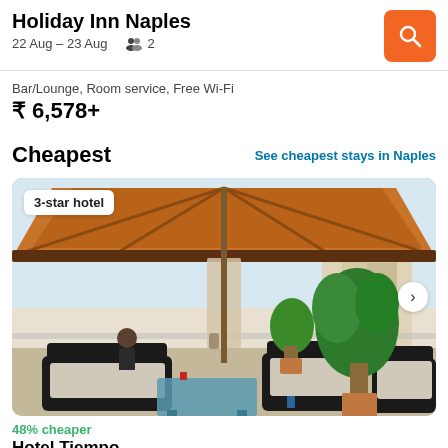Holiday Inn Naples
22 Aug – 23 Aug   2
Bar/Lounge, Room service, Free Wi-Fi
₹ 6,578+
Cheapest
See cheapest stays in Naples
[Figure (photo): Hotel rooftop terrace with brown umbrella/gazebo, wicker outdoor furniture, potted plants, and a city view in the background. Badge showing '3-star hotel'.]
48% cheaper
Hotel Tiempo